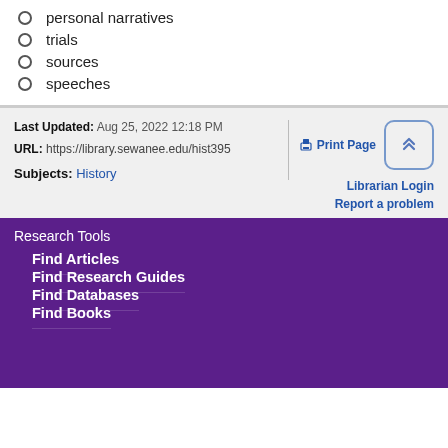personal narratives
trials
sources
speeches
Last Updated: Aug 25, 2022 12:18 PM | URL: https://library.sewanee.edu/hist395 | Print Page | Librarian Login | Report a problem
Subjects: History
Research Tools
Find Articles
Find Research Guides
Find Databases
Find Books